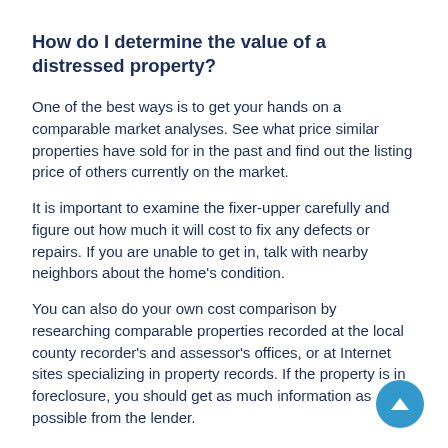How do I determine the value of a distressed property?
One of the best ways is to get your hands on a comparable market analyses. See what price similar properties have sold for in the past and find out the listing price of others currently on the market.
It is important to examine the fixer-upper carefully and figure out how much it will cost to fix any defects or repairs. If you are unable to get in, talk with nearby neighbors about the home's condition.
You can also do your own cost comparison by researching comparable properties recorded at the local county recorder's and assessor's offices, or at Internet sites specializing in property records. If the property is in foreclosure, you should get as much information as possible from the lender.